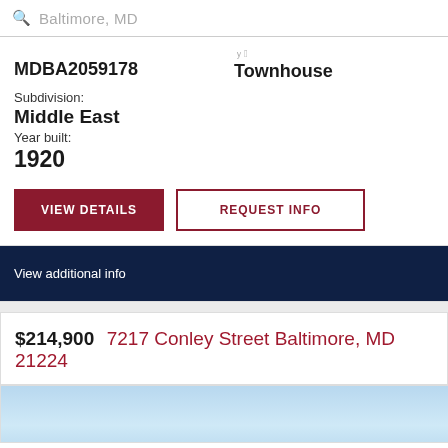Baltimore, MD
MDBA2059178
Townhouse
Subdivision:
Middle East
Year built:
1920
VIEW DETAILS
REQUEST INFO
View additional info
$214,900 7217 Conley Street Baltimore, MD 21224
[Figure (photo): Photo strip of property listing - light blue sky/background thumbnail]